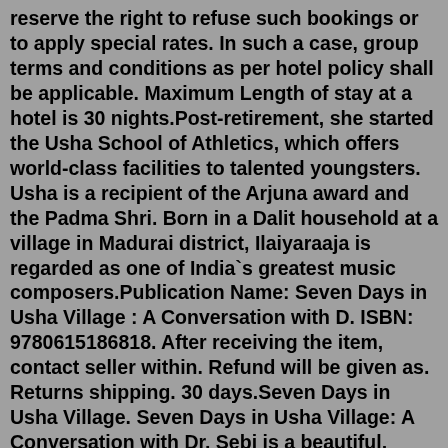reserve the right to refuse such bookings or to apply special rates. In such a case, group terms and conditions as per hotel policy shall be applicable. Maximum Length of stay at a hotel is 30 nights.Post-retirement, she started the Usha School of Athletics, which offers world-class facilities to talented youngsters. Usha is a recipient of the Arjuna award and the Padma Shri. Born in a Dalit household at a village in Madurai district, Ilaiyaraaja is regarded as one of India`s greatest music composers.Publication Name: Seven Days in Usha Village : A Conversation with D. ISBN: 9780615186818. After receiving the item, contact seller within. Refund will be given as. Returns shipping. 30 days.Seven Days in Usha Village. Seven Days in Usha Village: A Conversation with Dr. Sebi is a beautiful, question-and-answer style book that covers artist and writer Beverly Oliver's . $19.95 Filters. By Tag. By Collection. other products; By Price. Less than $25; Add to cart. Add to cartLocated in Tehri, The Vintage Hill Village offers 5-star accommodations with a garden. Featuring a 24